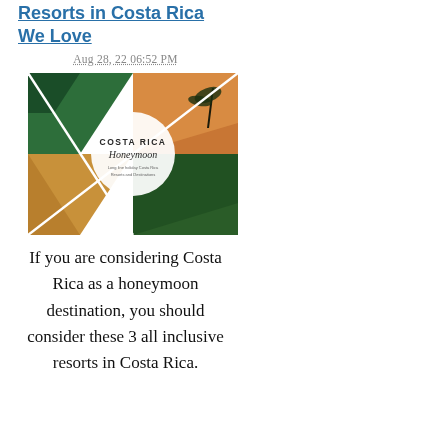Resorts in Costa Rica We Love
Aug 28, 22 06:52 PM
[Figure (photo): Costa Rica Honeymoon photo collage showing tropical beach scenes with palm trees, sunset, and lush greenery, with a white circle overlay reading 'COSTA RICA Honeymoon']
If you are considering Costa Rica as a honeymoon destination, you should consider these 3 all inclusive resorts in Costa Rica.